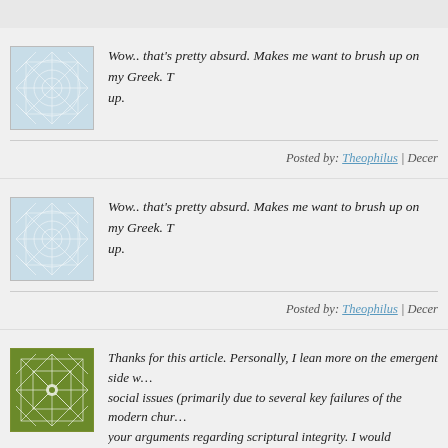Wow.. that's pretty absurd. Makes me want to brush up on my Greek. T… up.
Posted by: Theophilus | Decer…
Wow.. that's pretty absurd. Makes me want to brush up on my Greek. T… up.
Posted by: Theophilus | Decer…
Thanks for this article. Personally, I lean more on the emergent side w… social issues (primarily due to several key failures of the modern chur… your arguments regarding scriptural integrity. I would certainly call th… more of a commentary, and thus, it should be regarded with skepticism… the sole text used to understand God's word. Personally, I wouldn't see… person reading it as a fresh perspective on scripture that they know we… wary of it as a means of teaching new believers or people who are "jus…